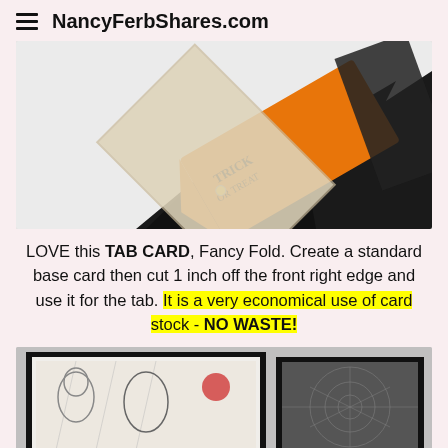NancyFerbShares.com
[Figure (photo): Close-up of Halloween tab card craft showing an orange arrow-shaped tag with 'TRICK OR TREAT' text and black bat/lightning bolt shaped elements on white background]
LOVE this TAB CARD, Fancy Fold. Create a standard base card then cut 1 inch off the front right edge and use it for the tab. It is a very economical use of card stock - NO WASTE!
[Figure (photo): Halloween cards showing mummy and Halloween character patterned paper with black borders, partially cropped at bottom of page]